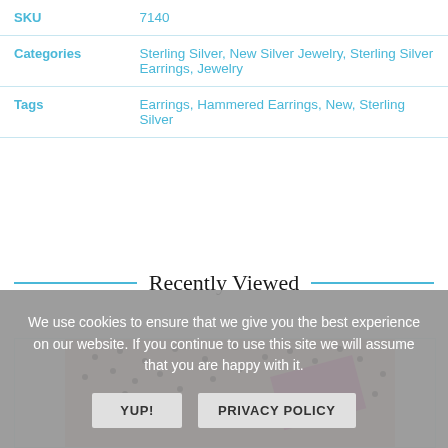|  |  |
| --- | --- |
| SKU | 7140 |
| Categories | Sterling Silver, New Silver Jewelry, Sterling Silver Earrings, Jewelry |
| Tags | Earrings, Hammered Earrings, New, Sterling Silver |
Recently Viewed
[Figure (photo): Product image with pink background showing scattered dark beads/dots and a pink geometric shape]
We use cookies to ensure that we give you the best experience on our website. If you continue to use this site we will assume that you are happy with it.
YUP!
PRIVACY POLICY